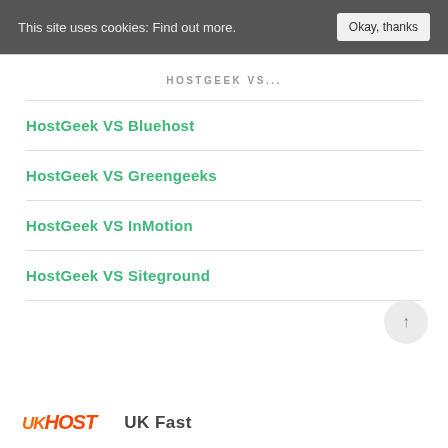This site uses cookies: Find out more. Okay, thanks
HOSTGEEK VS...
HostGeek VS Bluehost
HostGeek VS Greengeeks
HostGeek VS InMotion
HostGeek VS Siteground
UK Fast